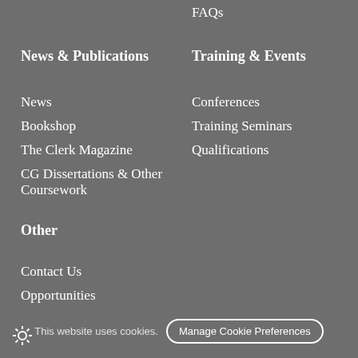FAQs
News & Publications
Training & Events
News
Bookshop
The Clerk Magazine
CG Dissertations & Other Coursework
Conferences
Training Seminars
Qualifications
Other
Contact Us
Opportunities
In Need of Advice
This website uses cookies. Manage Cookie Preferences